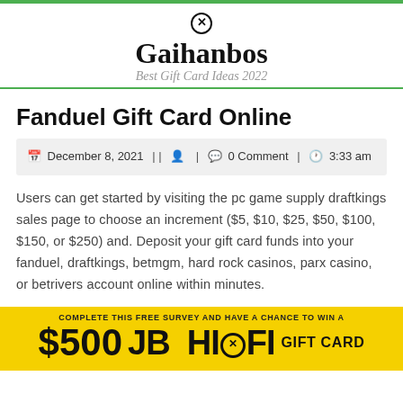Gaihanbos — Best Gift Card Ideas 2022
Fanduel Gift Card Online
December 8, 2021 | | 0 Comment | 3:33 am
Users can get started by visiting the pc game supply draftkings sales page to choose an increment ($5, $10, $25, $50, $100, $150, or $250) and. Deposit your gift card funds into your fanduel, draftkings, betmgm, hard rock casinos, parx casino, or betrivers account online within minutes.
[Figure (infographic): Yellow advertisement banner: 'COMPLETE THIS FREE SURVEY AND HAVE A CHANCE TO WIN A $500 JB HI-FI GIFT CARD']